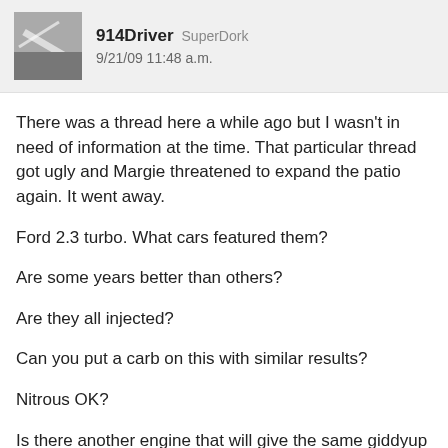914Driver SuperDork 9/21/09 11:48 a.m.
There was a thread here a while ago but I wasn't in need of information at the time. That particular thread got ugly and Margie threatened to expand the patio again. It went away.
Ford 2.3 turbo. What cars featured them?
Are some years better than others?
Are they all injected?
Can you put a carb on this with similar results?
Nitrous OK?
Is there another engine that will give the same giddyup for the weight?
Dan